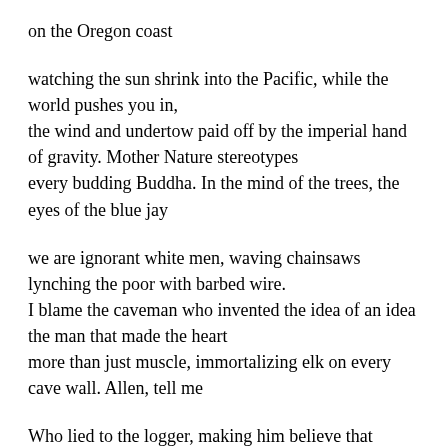on the Oregon coast
watching the sun shrink into the Pacific, while the world pushes you in,
the wind and undertow paid off by the imperial hand of gravity. Mother Nature stereotypes
every budding Buddha. In the mind of the trees, the eyes of the blue jay
we are ignorant white men, waving chainsaws lynching the poor with barbed wire.
I blame the caveman who invented the idea of an idea the man that made the heart
more than just muscle, immortalizing elk on every cave wall. Allen, tell me
Who lied to the logger, making him believe that forests last for ever? Who told the soldier
dying is an honorable way to live? Who told the hippy to